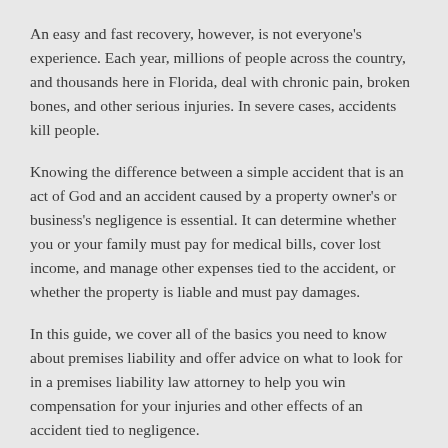An easy and fast recovery, however, is not everyone's experience. Each year, millions of people across the country, and thousands here in Florida, deal with chronic pain, broken bones, and other serious injuries. In severe cases, accidents kill people.
Knowing the difference between a simple accident that is an act of God and an accident caused by a property owner's or business's negligence is essential. It can determine whether you or your family must pay for medical bills, cover lost income, and manage other expenses tied to the accident, or whether the property is liable and must pay damages.
In this guide, we cover all of the basics you need to know about premises liability and offer advice on what to look for in a premises liability law attorney to help you win compensation for your injuries and other effects of an accident tied to negligence.
What Is Premises Liability?